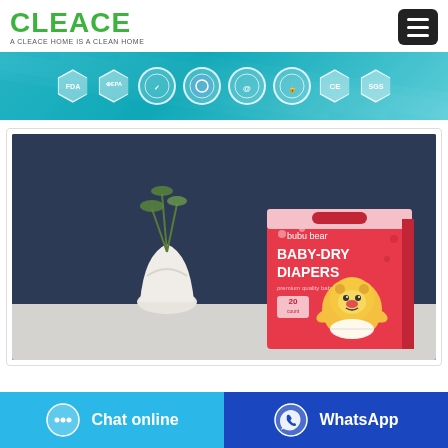[Figure (logo): CLEACE logo in green bold text with tagline 'A CLEACE HOME IS A CLEAN HOME']
[Figure (infographic): Certification banner with teal/cyan gradient background showing FDA, EPA, and other certification badges]
[Figure (photo): Product photo of 'bubu bear BABY-DRY DIAPERS' pink packaging box with cartoon bear character, on a table with a white vase and plant in background, dark blue backdrop]
[Figure (infographic): Two action buttons at bottom: 'Chat online' in cyan/light blue and 'WhatsApp' in dark blue, each with corresponding icons]